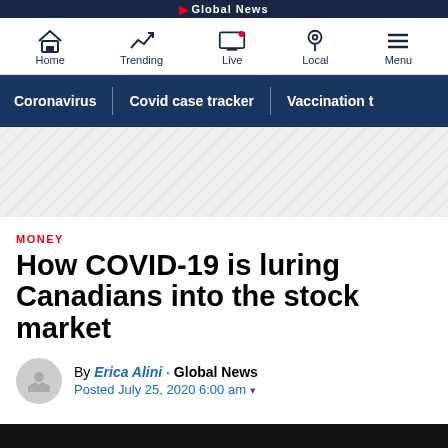Global News
[Figure (screenshot): Navigation icons: Home, Trending, Live (with red notification dot), Local, Menu]
Coronavirus | Covid case tracker | Vaccination t
[Figure (other): Diagonal stripe advertisement/promo banner area]
MONEY
How COVID-19 is luring Canadians into the stock market
By Erica Alini · Global News
Posted July 25, 2020 6:00 am